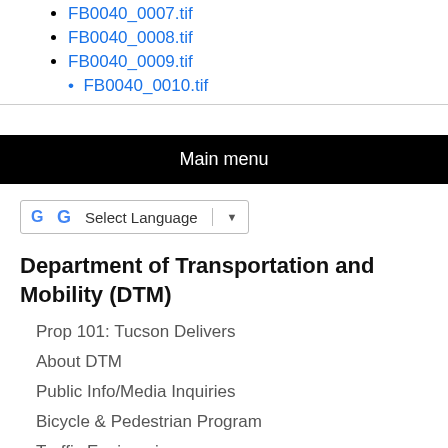FB0040_0007.tif
FB0040_0008.tif
FB0040_0009.tif
FB0040_0010.tif (partial)
Main menu
Select Language
Department of Transportation and Mobility (DTM)
Prop 101: Tucson Delivers
About DTM
Public Info/Media Inquiries
Bicycle & Pedestrian Program
Traffic Engineering
Engineering